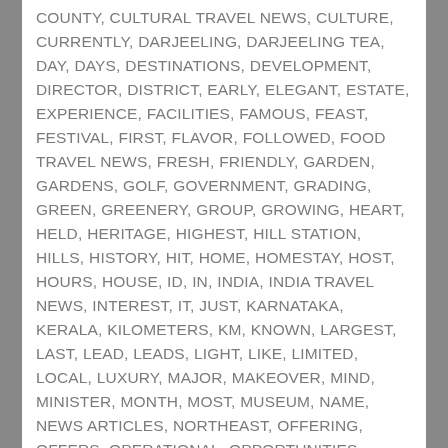COUNTY, CULTURAL TRAVEL NEWS, CULTURE, CURRENTLY, DARJEELING, DARJEELING TEA, DAY, DAYS, DESTINATIONS, DEVELOPMENT, DIRECTOR, DISTRICT, EARLY, ELEGANT, ESTATE, EXPERIENCE, FACILITIES, FAMOUS, FEAST, FESTIVAL, FIRST, FLAVOR, FOLLOWED, FOOD TRAVEL NEWS, FRESH, FRIENDLY, GARDEN, GARDENS, GOLF, GOVERNMENT, GRADING, GREEN, GREENERY, GROUP, GROWING, HEART, HELD, HERITAGE, HIGHEST, HILL STATION, HILLS, HISTORY, HIT, HOME, HOMESTAY, HOST, HOURS, HOUSE, ID, IN, INDIA, INDIA TRAVEL NEWS, INTEREST, IT, JUST, KARNATAKA, KERALA, KILOMETERS, KM, KNOWN, LARGEST, LAST, LEAD, LEADS, LIGHT, LIKE, LIMITED, LOCAL, LUXURY, MAJOR, MAKEOVER, MIND, MINISTER, MONTH, MOST, MUSEUM, NAME, NEWS ARTICLES, NORTHEAST, OFFERING, OFFERS, OPERATIONAL, OPPORTUNITIES, OPTION, ORGANIZING, PERMITS, PLACE, PLACES, PLANTATION, POCKETS, PRODUCTION, PROGRESS, PROMOTING, QUALITY, REFURBISHED, REGION, REGIONS, RESEARCH, RESEARCH CENTER, RESORT, RIGHT, ROUTES, RS, RUSTIC, S, SAHIB, SAID, SANCTUARY, SCENIC, SEVEN, SIGHT, SOUTH, STATE, STATE GOVERNMENT, STATION, STATIONS, STORY, STYLE, TAMIL NADU, TASTING, TEA, TEA ESTATES, TEA TOURISM, TEA TOURISTS, THE REGION, THE WORLD, THROUGH, TIE, TIME, TO, TO BE, TOP, TOURISM, TOURISM ENTERPRISES, TOURISM